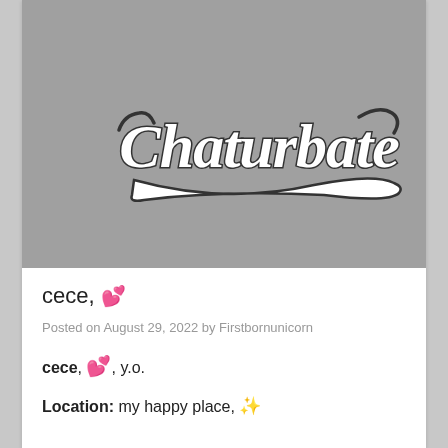[Figure (logo): Chaturbate logo on a gray background — stylized script lettering in white/black with decorative flourishes and underline]
cece, 💕
Posted on August 29, 2022 by Firstbornunicorn
cece, 💕, y.o.
Location: my happy place, ✨